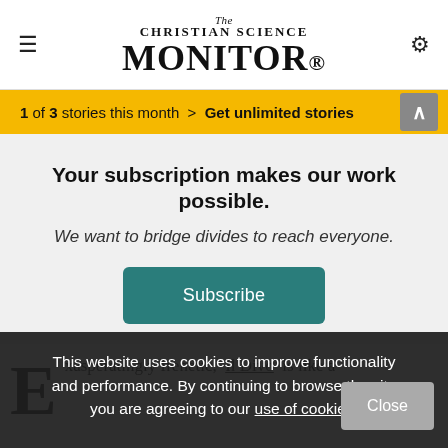The Christian Science Monitor
1 of 3 stories this month > Get unlimited stories
Your subscription makes our work possible.
We want to bridge divides to reach everyone.
Subscribe
xasperatingly frenetic, Il Divo is like a
This website uses cookies to improve functionality and performance. By continuing to browse the site you are agreeing to our use of cookies.